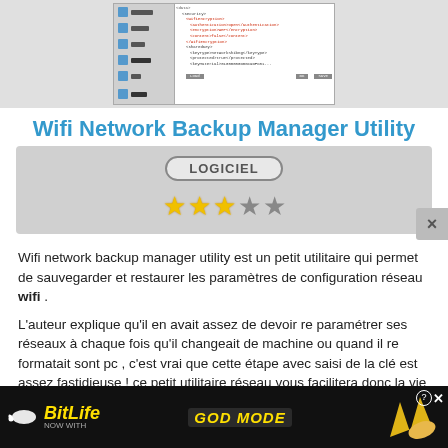[Figure (screenshot): Screenshot of Wifi Network Backup Manager Utility software interface showing XML configuration tree with network settings]
Wifi Network Backup Manager Utility
[Figure (other): Software badge showing 'LOGICIEL' label and 3 out of 5 star rating]
Wifi network backup manager utility est un petit utilitaire qui permet de sauvegarder et restaurer les paramètres de configuration réseau wifi .
L'auteur explique qu'il en avait assez de devoir re paramétrer ses réseaux à chaque fois qu'il changeait de machine ou quand il re formatait sont pc , c'est vrai que cette étape avec saisi de la clé est assez fastidieuse ! ce petit utilitaire réseau vous facilitera donc la vie avec votre wifiwifi
Lire la suite
[Figure (advertisement): BitLife 'Now with God Mode' advertisement banner at bottom]